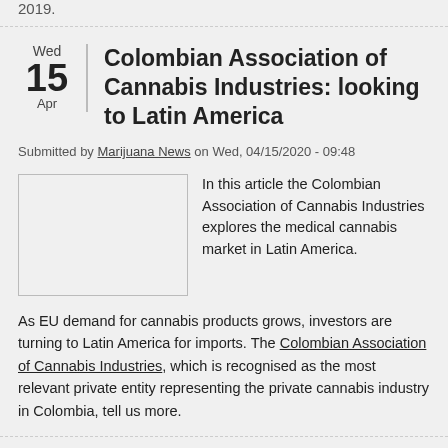2019.
Colombian Association of Cannabis Industries: looking to Latin America
Submitted by Marijuana News on Wed, 04/15/2020 - 09:48
[Figure (photo): Image placeholder for article about Colombian Association of Cannabis Industries]
In this article the Colombian Association of Cannabis Industries explores the medical cannabis market in Latin America.
As EU demand for cannabis products grows, investors are turning to Latin America for imports. The Colombian Association of Cannabis Industries, which is recognised as the most relevant private entity representing the private cannabis industry in Colombia, tell us more.